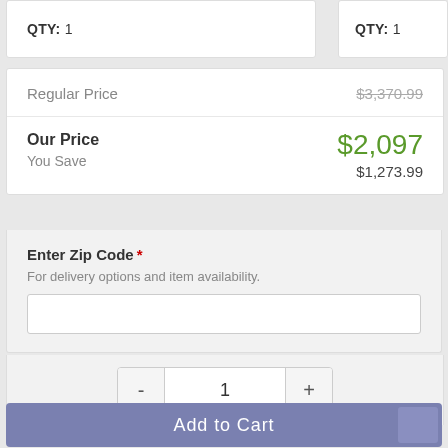QTY: 1
QTY: 1
| Regular Price | $3,370.99 |
| Our Price | $2,097 |
| You Save | $1,273.99 |
Enter Zip Code * For delivery options and item availability.
- 1 +
Add to Cart